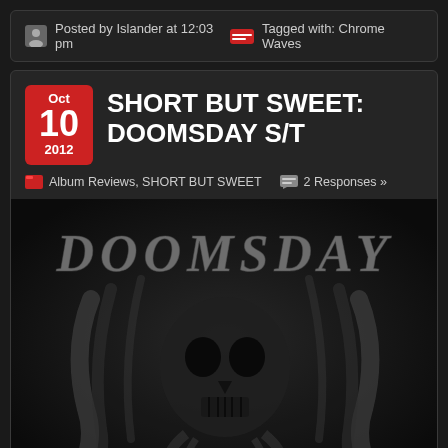Posted by Islander at 12:03 pm
Tagged with: Chrome Waves
SHORT BUT SWEET: DOOMSDAY S/T
Oct 10 2012
Album Reviews, SHORT BUT SWEET
2 Responses »
[Figure (illustration): Album cover for Doomsday S/T — dark, monochrome illustration of a grotesque skull/skeletal figure with gothic lettering 'DOOMSDAY' at the top in old English style font, rendered in blacks and dark grays.]